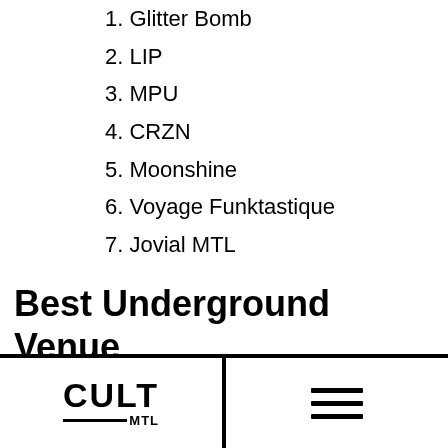1. Glitter Bomb
2. LIP
3. MPU
4. CRZN
5. Moonshine
6. Voyage Funktastique
7. Jovial MTL
Best Underground Venue
1. La Plante
2. Bog
CULT MTL